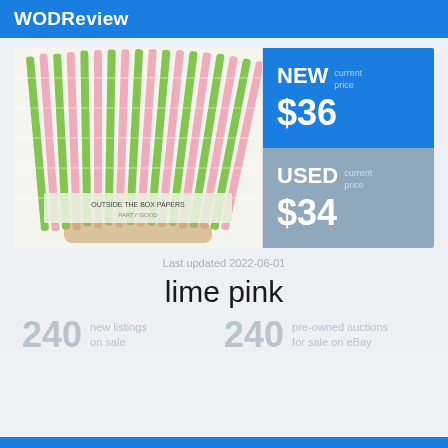WODReview
[Figure (photo): Bundle of lime green and pink striped paper straws with 'OUTSIDE THE BOX PAPERS' label]
NEW current price $36
USED current price $34
Last updated 2022-06-01
lime pink
240 new listings on sale
240 pre-owned auctions for sale on eBay